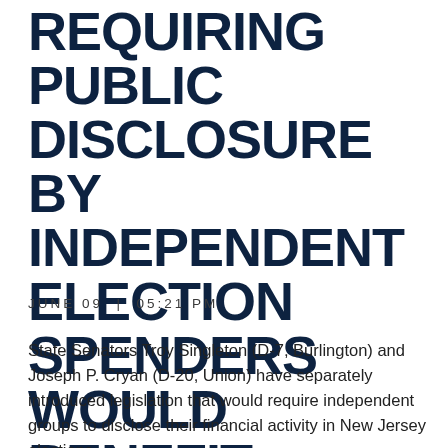REQUIRING PUBLIC DISCLOSURE BY INDEPENDENT ELECTION SPENDERS WOULD BENEFIT VOTERS
JUNE 09 | 05:21 PM
State Senators Troy Singleton (D-7, Burlington) and Joseph P. Cryan (D-20, Union) have separately introduced legislation that would require independent groups to disclose their financial activity in New Jersey elections.